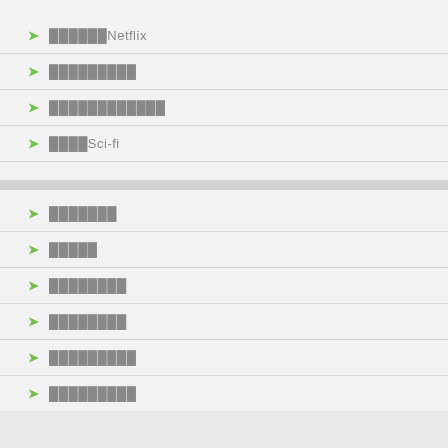▶ ░░░░░░Netflix
▶ ░░░░░░░░░
▶ ░░░░░░░░░░░░
▶ ░░░░Sci-fi
▶ ░░░░░░░
▶ ░░░░░
▶ ░░░░░░░░
▶ ░░░░░░░░
▶ ░░░░░░░░░
▶ ░░░░░░░░░